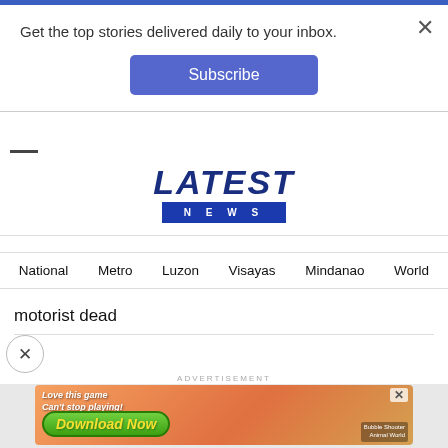Get the top stories delivered daily to your inbox.
Subscribe
LATEST NEWS
National
Metro
Luzon
Visayas
Mindanao
World
motorist dead
ADVERTISEMENT
[Figure (screenshot): Mobile game advertisement banner with text 'Love this game Can't stop playing! Download Now' and 'Bubble Shooter Animal World' branding on a colorful orange background with game elements.]